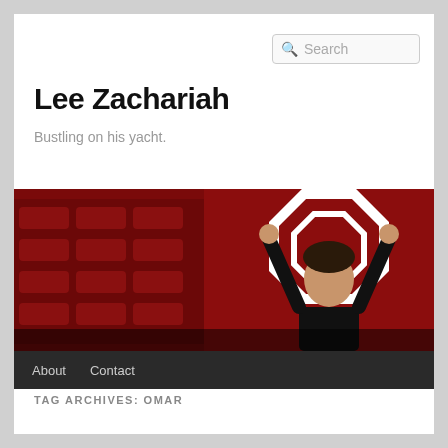Search
Lee Zachariah
Bustling on his yacht.
[Figure (photo): A man in a theatre holding a chair above his head with red theatre seats in the background]
About  Contact
TAG ARCHIVES: OMAR